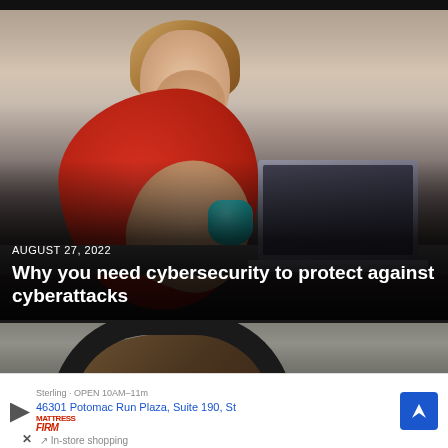[Figure (photo): Woman in orange/red shirt sitting at desk with laptop, hands on head in stressed pose, teal mug visible, with dark gradient overlay and article text]
AUGUST 27, 2022
Why you need cybersecurity to protect against cyberattacks
[Figure (photo): Partial view of person wearing black headphones, only top of head visible]
46301 Potomac Run Plaza, Suite 190, St
In-store shopping